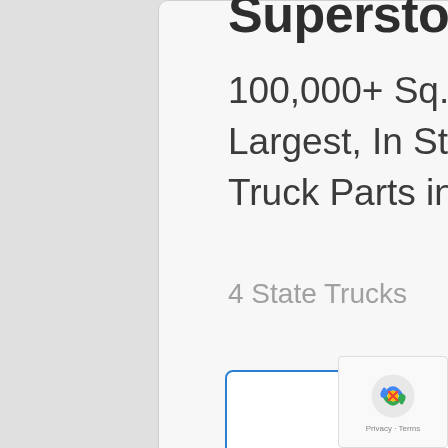Superstore
100,000+ Sq. Ft. Warehouse - Largest, In Stock, Selection of Truck Parts in USA.
4 State Trucks
Shop Now